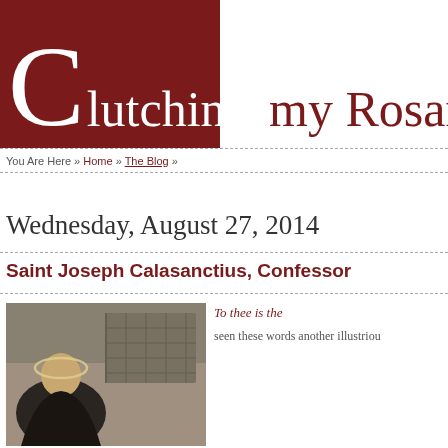Clutching my Rosary
You Are Here » Home » The Blog »
Wednesday, August 27, 2014
Saint Joseph Calasanctius, Confessor
[Figure (illustration): Black and white illustration of Saint Joseph Calasanctius with halo, in a room setting]
To thee is the... seen these words... another illustriou...